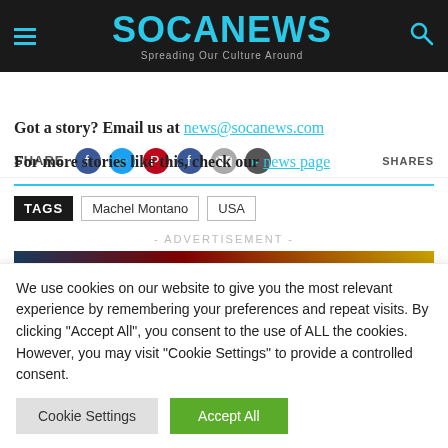SOCANEWS – Spreading Our Culture Around
SHARE   SHARES
Got a story? Email us at news@socanews.com
For more stories like this, check our news page
TAGS  Machel Montano  USA
- ADVERTISEMENT -
[Figure (photo): Advertisement image with dark blue, red and gold/yellow colors]
We use cookies on our website to give you the most relevant experience by remembering your preferences and repeat visits. By clicking "Accept All", you consent to the use of ALL the cookies. However, you may visit "Cookie Settings" to provide a controlled consent.
Cookie Settings   Accept All